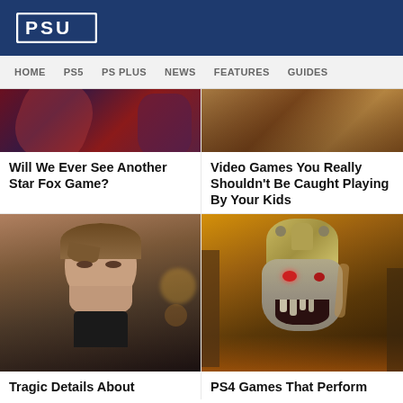PSU
HOME  PS5  PS PLUS  NEWS  FEATURES  GUIDES
[Figure (photo): Cropped image of a game or movie scene with dark red and purple tones]
Will We Ever See Another Star Fox Game?
[Figure (photo): Cropped image of a person or game character with warm brown tones]
Video Games You Really Shouldn't Be Caught Playing By Your Kids
[Figure (photo): Photo of a young man with brown hair looking to the side in a dark shirt]
Tragic Details About MrBeast
[Figure (photo): Image of a grotesque creature/character from a video game with yellow-green mechanical headgear and decayed face, orange fiery background]
PS4 Games That Perform Like They're On The PS5